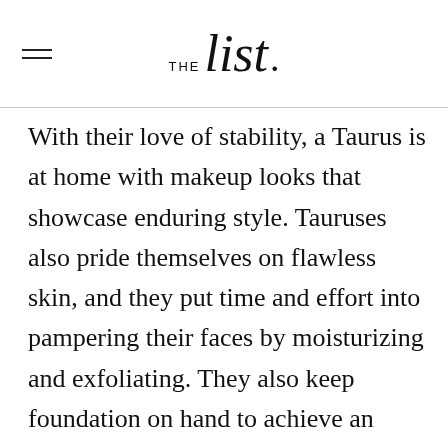THE list.
With their love of stability, a Taurus is at home with makeup looks that showcase enduring style. Tauruses also pride themselves on flawless skin, and they put time and effort into pampering their faces by moisturizing and exfoliating. They also keep foundation on hand to achieve an even base for their look (per thetalko.com).